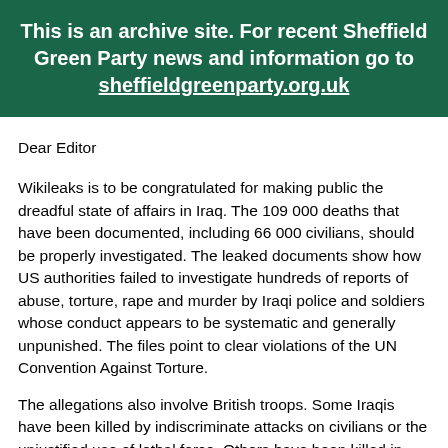This is an archive site. For recent Sheffield Green Party news and information go to sheffieldgreenparty.org.uk
Dear Editor
Wikileaks is to be congratulated for making public the dreadful state of affairs in Iraq. The 109 000 deaths that have been documented, including 66 000 civilians, should be properly investigated. The leaked documents show how US authorities failed to investigate hundreds of reports of abuse, torture, rape and murder by Iraqi police and soldiers whose conduct appears to be systematic and generally unpunished. The files point to clear violations of the UN Convention Against Torture.
The allegations also involve British troops. Some Iraqis have been killed by indiscriminate attacks on civilians or the unjustified use of lethal force. Others have been killed in custody by UK forces and no one knows how many Iraqis